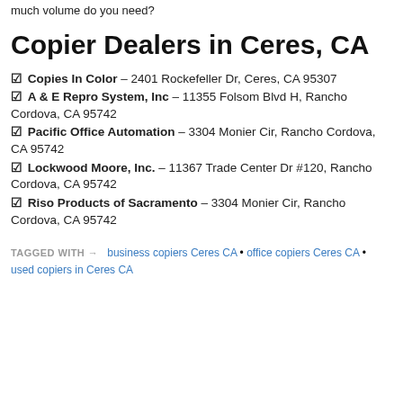much volume do you need?
Copier Dealers in Ceres, CA
Copies In Color – 2401 Rockefeller Dr, Ceres, CA 95307
A & E Repro System, Inc – 11355 Folsom Blvd H, Rancho Cordova, CA 95742
Pacific Office Automation – 3304 Monier Cir, Rancho Cordova, CA 95742
Lockwood Moore, Inc. – 11367 Trade Center Dr #120, Rancho Cordova, CA 95742
Riso Products of Sacramento – 3304 Monier Cir, Rancho Cordova, CA 95742
TAGGED WITH → business copiers Ceres CA • office copiers Ceres CA • used copiers in Ceres CA